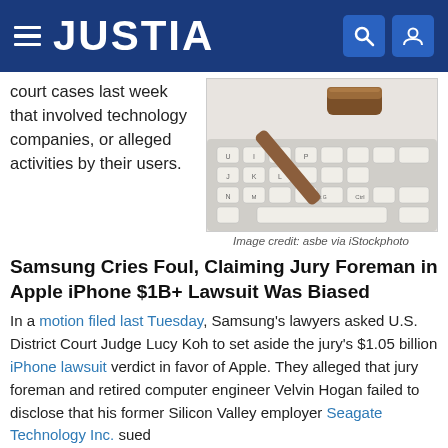JUSTIA
court cases last week that involved technology companies, or alleged activities by their users.
[Figure (photo): A wooden gavel resting on a white computer keyboard, suggesting legal technology themes.]
Image credit: asbe via iStockphoto
Samsung Cries Foul, Claiming Jury Foreman in Apple iPhone $1B+ Lawsuit Was Biased
In a motion filed last Tuesday, Samsung's lawyers asked U.S. District Court Judge Lucy Koh to set aside the jury's $1.05 billion iPhone lawsuit verdict in favor of Apple. They alleged that jury foreman and retired computer engineer Velvin Hogan failed to disclose that his former Silicon Valley employer Seagate Technology Inc. sued